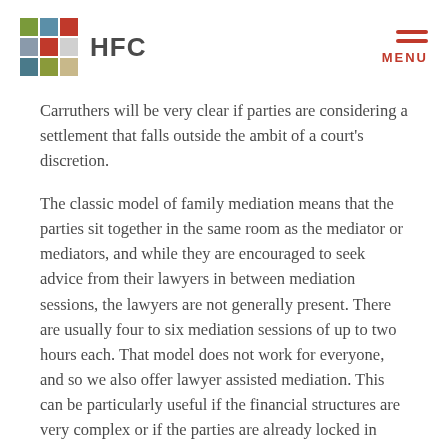HFC
Carruthers will be very clear if parties are considering a settlement that falls outside the ambit of a court's discretion.
The classic model of family mediation means that the parties sit together in the same room as the mediator or mediators, and while they are encouraged to seek advice from their lawyers in between mediation sessions, the lawyers are not generally present. There are usually four to six mediation sessions of up to two hours each. That model does not work for everyone, and so we also offer lawyer assisted mediation. This can be particularly useful if the financial structures are very complex or if the parties are already locked in litigation. One or more days are set aside for the